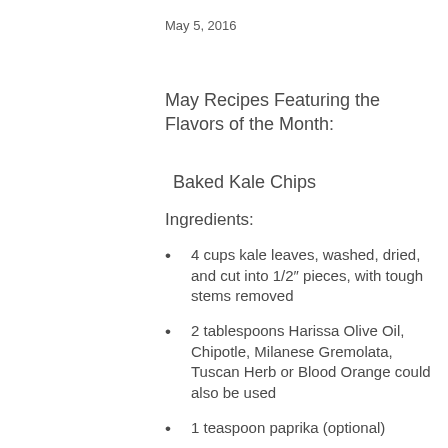May 5, 2016
May Recipes Featuring the Flavors of the Month:
Baked Kale Chips
Ingredients:
4 cups kale leaves, washed, dried, and cut into 1/2″ pieces, with tough stems removed
2 tablespoons Harissa Olive Oil, Chipotle, Milanese Gremolata, Tuscan Herb or Blood Orange could also be used
1 teaspoon paprika (optional)